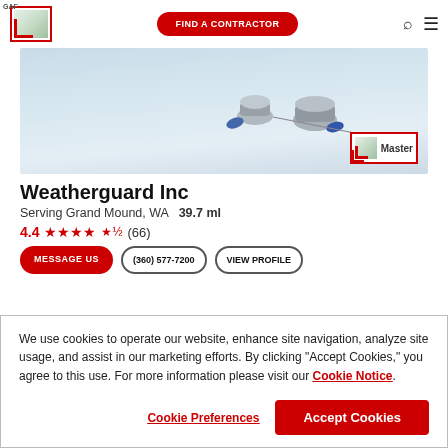GAF | FIND A CONTRACTOR
[Figure (photo): Hero image of a white rooftop with metal ventilation caps and a Master contractor badge/logo in the bottom right corner]
Weatherguard Inc
Serving Grand Mound, WA   39.7 ml
4.4 ★★★★½ (66)
MESSAGE US | (360) 577-7200 | VIEW PROFILE
We use cookies to operate our website, enhance site navigation, analyze site usage, and assist in our marketing efforts. By clicking "Accept Cookies," you agree to this use. For more information please visit our Cookie Notice.
Cookie Preferences | Accept Cookies